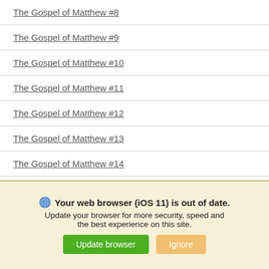The Gospel of Matthew #8
The Gospel of Matthew #9
The Gospel of Matthew #10
The Gospel of Matthew #11
The Gospel of Matthew #12
The Gospel of Matthew #13
The Gospel of Matthew #14
The Gospel of Matthew #15
Your web browser (iOS 11) is out of date. Update your browser for more security, speed and the best experience on this site. [Update browser] [Ignore]